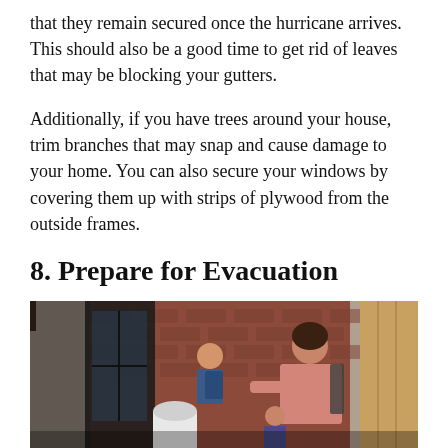that they remain secured once the hurricane arrives. This should also be a good time to get rid of leaves that may be blocking your gutters.
Additionally, if you have trees around your house, trim branches that may snap and cause damage to your home. You can also secure your windows by covering them up with strips of plywood from the outside frames.
8. Prepare for Evacuation
[Figure (photo): A woman with a backpack and children entering or exiting a brick building through a dark-framed door, appearing to be evacuating with bags.]